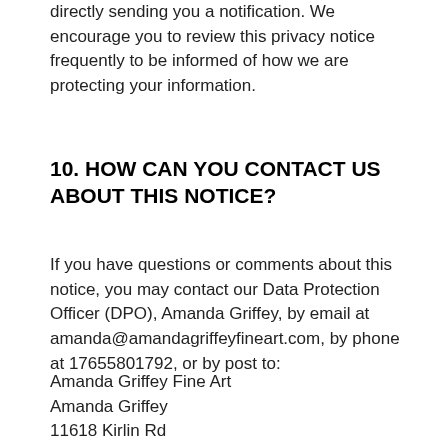directly sending you a notification. We encourage you to review this privacy notice frequently to be informed of how we are protecting your information.
10. HOW CAN YOU CONTACT US ABOUT THIS NOTICE?
If you have questions or comments about this notice, you may contact our Data Protection Officer (DPO), Amanda Griffey, by email at amanda@amandagriffeyfineart.com, by phone at 17655801792, or by post to:
Amanda Griffey Fine Art
Amanda Griffey
11618 Kirlin Rd
Milton, IN 47357
United States
11. HOW CAN YOU REVIEW, UPDATE,